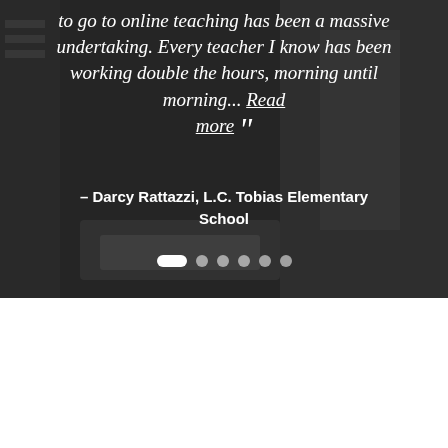to go to online teaching has been a massive undertaking. Every teacher I know has been working double the hours, morning until morning... Read more
– Darcy Rattazzi, L.C. Tobias Elementary School
[Figure (other): Carousel navigation dots: one active (pill-shaped white) and five inactive (circular grey) dots]
Awards & Recognition
[Figure (logo): TOP badge logo in gold/yellow hexagon shape]
[Figure (logo): Purple award badge/seal logo]